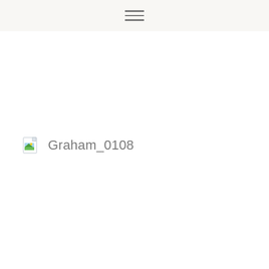[Figure (other): File icon representing an image file (document with green/blue landscape thumbnail), followed by the filename Graham_0108]